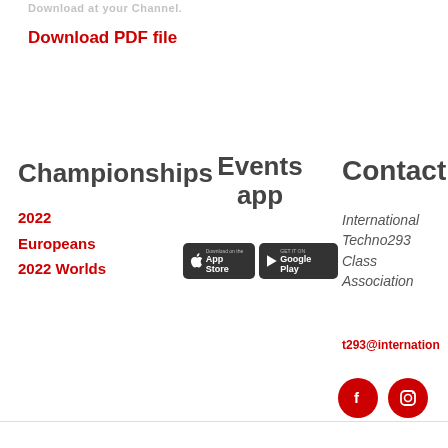Download at your Channel.
Download PDF file
Championships
2022 Europeans
2022 Worlds
Events app
[Figure (other): App Store and Google Play download badges]
Contact
International Techno293 Class Association
t293@internation...
[Figure (other): Facebook and Instagram social media icons (red circles)]